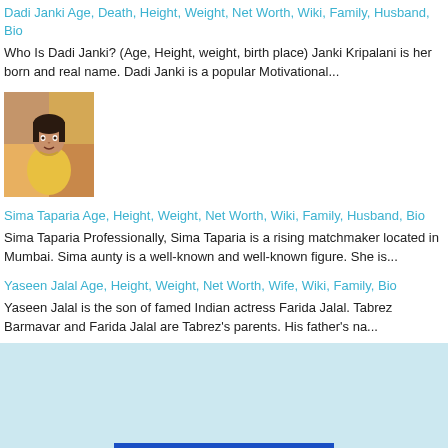Dadi Janki Age, Death, Height, Weight, Net Worth, Wiki, Family, Husband, Bio
Who Is Dadi Janki? (Age, Height, weight, birth place) Janki Kripalani is her born and real name. Dadi Janki is a popular Motivational...
[Figure (photo): Thumbnail photo of a woman in a yellow outfit]
Sima Taparia Age, Height, Weight, Net Worth, Wiki, Family, Husband, Bio
Sima Taparia Professionally, Sima Taparia is a rising matchmaker located in Mumbai. Sima aunty is a well-known and well-known figure. She is...
Yaseen Jalal Age, Height, Weight, Net Worth, Wife, Wiki, Family, Bio
Yaseen Jalal is the son of famed Indian actress Farida Jalal. Tabrez Barmavar and Farida Jalal are Tabrez's parents. His father's na...
[Figure (illustration): Light blue background area with a dark blue bar at the bottom center]